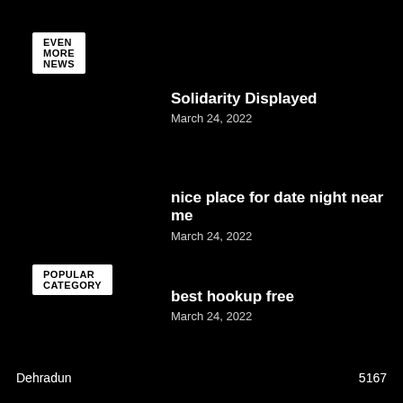EVEN MORE NEWS
Solidarity Displayed
March 24, 2022
nice place for date night near me
March 24, 2022
best hookup free
March 24, 2022
POPULAR CATEGORY
Dehradun 5167